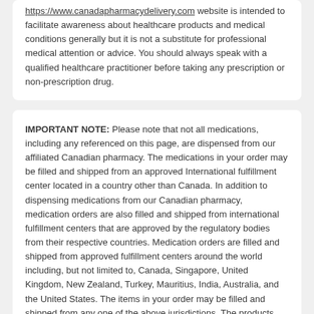https://www.canadapharmacydelivery.com website is intended to facilitate awareness about healthcare products and medical conditions generally but it is not a substitute for professional medical attention or advice. You should always speak with a qualified healthcare practitioner before taking any prescription or non-prescription drug.
IMPORTANT NOTE: Please note that not all medications, including any referenced on this page, are dispensed from our affiliated Canadian pharmacy. The medications in your order may be filled and shipped from an approved International fulfillment center located in a country other than Canada. In addition to dispensing medications from our Canadian pharmacy, medication orders are also filled and shipped from international fulfillment centers that are approved by the regulatory bodies from their respective countries. Medication orders are filled and shipped from approved fulfillment centers around the world including, but not limited to, Canada, Singapore, United Kingdom, New Zealand, Turkey, Mauritius, India, Australia, and the United States. The items in your order may be filled and shipped from any one of the above jurisdictions. The products are sourced from various countries including, but not limited to, Canada, United Kingdom, New Zealand, Turkey, India, Australia, and the United States. All of our affiliated fulfillment centers have been approved by the regulatory bodies from their respective countries.